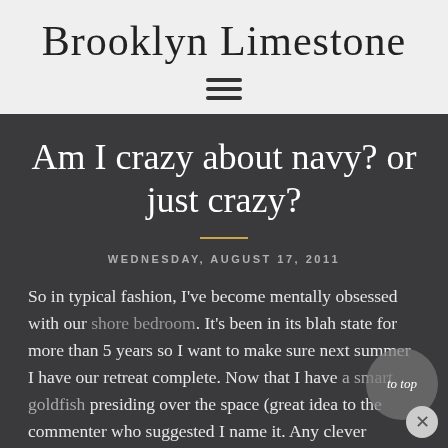Brooklyn Limestone
Am I crazy about navy? or just crazy?
WEDNESDAY, AUGUST 17, 2011
So in typical fashion, I've become mentally obsessed with our shore bedroom. It's been in its blah state for more than 5 years so I want to make sure next summer I have our retreat complete. Now that I have a smart goldfish presiding over the space (great idea to the commenter who suggested I name it. Any clever monikers in mind?), the rest of the room has to take shape.